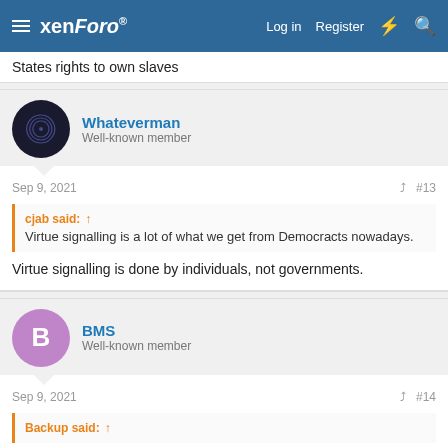xenForo — Log in   Register
States rights to own slaves
Whateverman
Well-known member
Sep 9, 2021   #13
cjab said: ↑
Virtue signalling is a lot of what we get from Democracts nowadays.
Virtue signalling is done by individuals, not governments.
BMS
Well-known member
Sep 9, 2021   #14
Backup said: ↑